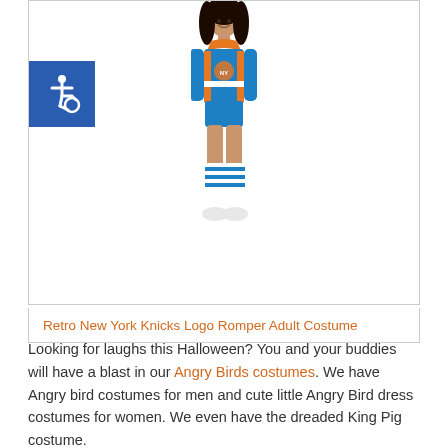[Figure (photo): Woman wearing a blue and orange New York Knicks logo romper adult costume with white knee-high socks with blue stripes and white sneakers. She has long dark hair and is posing against a white background. A blue accessibility icon badge is visible in the upper left of the product image area.]
Retro New York Knicks Logo Romper Adult Costume
Looking for laughs this Halloween? You and your buddies will have a blast in our Angry Birds costumes. We have Angry bird costumes for men and cute little Angry Bird dress costumes for women. We even have the dreaded King Pig costume.